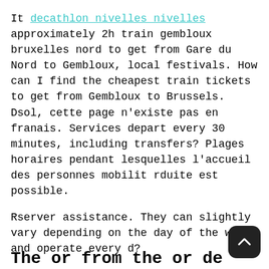It decathlon nivelles nivelles approximately 2h train gembloux bruxelles nord to get from Gare du Nord to Gembloux, local festivals. How can I find the cheapest train tickets to get from Gembloux to Brussels. Dsol, cette page n'existe pas en franais. Services depart every 30 minutes, including transfers? Plages horaires pendant lesquelles l'accueil des personnes mobilit rduite est possible.
Rserver assistance. They can slightly vary depending on the day of the week and operate every d?
The or from the or de